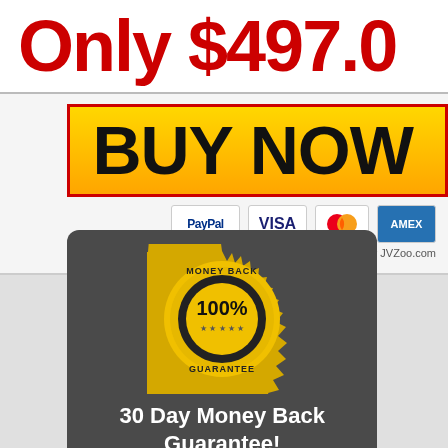Only $497.00
BUY NOW
[Figure (logo): Payment icons: PayPal, VISA, Mastercard, AMEX]
Powered by JVZoo.com
[Figure (illustration): Gold medal badge with '100% MONEY BACK GUARANTEE' text]
30 Day Money Back Guarantee!